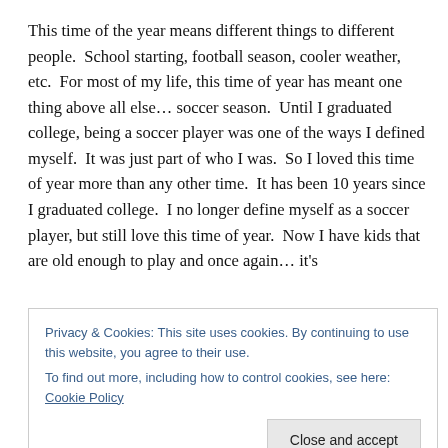This time of the year means different things to different people.  School starting, football season, cooler weather, etc.  For most of my life, this time of year has meant one thing above all else… soccer season.  Until I graduated college, being a soccer player was one of the ways I defined myself.  It was just part of who I was.  So I loved this time of year more than any other time.  It has been 10 years since I graduated college.  I no longer define myself as a soccer player, but still love this time of year.  Now I have kids that are old enough to play and once again… it's
Privacy & Cookies: This site uses cookies. By continuing to use this website, you agree to their use.
To find out more, including how to control cookies, see here: Cookie Policy
Close and accept
[Figure (photo): Partial photo strip at bottom of page, showing people outdoors]